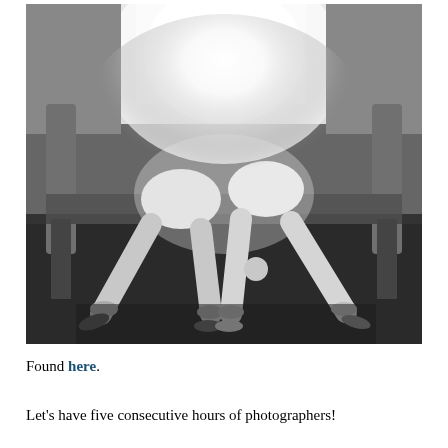[Figure (photo): Black and white photograph of two figures (appearing to be mannequins or people) bent over a bench in a backbend pose, with legs spread out on the floor. Bright light visible through windows in the background.]
Found here.
Let's have five consecutive hours of photographers!